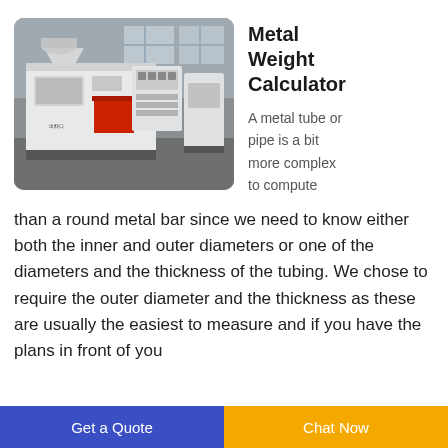[Figure (photo): Industrial metal processing machine (white/grey) in a warehouse/factory setting with red accents and a control panel]
Metal Weight Calculator
A metal tube or pipe is a bit more complex to compute than a round metal bar since we need to know either both the inner and outer diameters or one of the diameters and the thickness of the tubing. We chose to require the outer diameter and the thickness as these are usually the easiest to measure and if you have the plans in front of you
Get a Quote | Chat Now